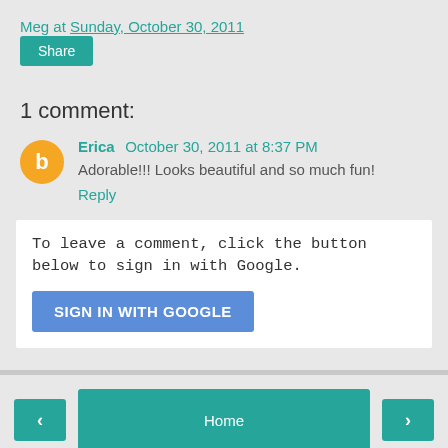Meg at Sunday, October 30, 2011
Share
1 comment:
Erica  October 30, 2011 at 8:37 PM
Adorable!!! Looks beautiful and so much fun!
Reply
To leave a comment, click the button below to sign in with Google.
SIGN IN WITH GOOGLE
< Home > View web version